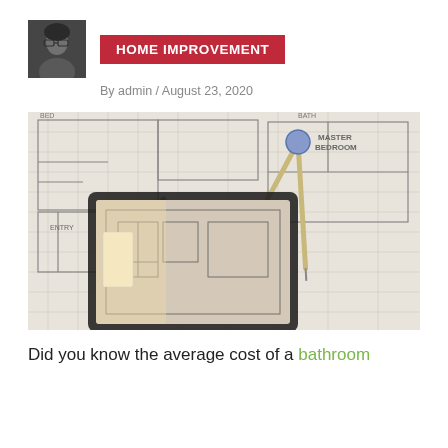[Figure (photo): Avatar photo of a woman with glasses and dark hair]
HOME IMPROVEMENT
By admin / August 23, 2020
[Figure (photo): Architectural blueprint with a pen, compass tool, and a tablet showing a bathroom render]
Did you know the average cost of a bathroom